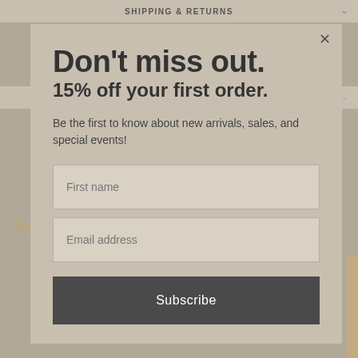SHIPPING & RETURNS
REVIEWS
Share   Tweet   Pin it
Don't miss out.
15% off your first order.
Be the first to know about new arrivals, sales, and special events!
First name
Email address
Subscribe
You May Also Like